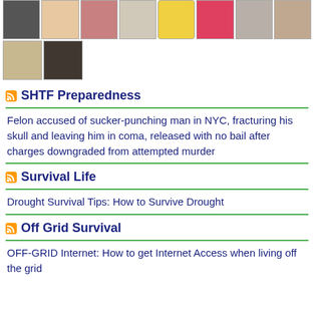[Figure (photo): Two rows of small portrait/avatar thumbnail images, various people and icons]
SHTF Preparedness
Felon accused of sucker-punching man in NYC, fracturing his skull and leaving him in coma, released with no bail after charges downgraded from attempted murder
Survival Life
Drought Survival Tips: How to Survive Drought
Off Grid Survival
OFF-GRID Internet: How to get Internet Access when living off the grid